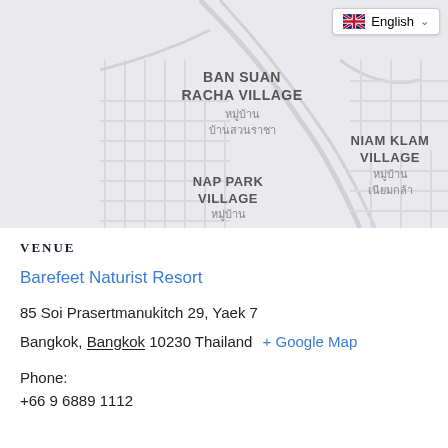[Figure (map): Street map showing Bangkok neighborhoods: Ban Suan Racha Village (หมู่บ้าน บ้านสวนราชา), Niam Klam Village (หมู่บ้าน เนียมกล้า), and Nap Park Village (หมู่บ้าน). An English language selector with UK flag is visible in the top right corner.]
VENUE
Barefeet Naturist Resort
85 Soi Prasertmanukitch 29, Yaek 7
Bangkok, Bangkok 10230 Thailand + Google Map
Phone:
+66 9 6889 1112